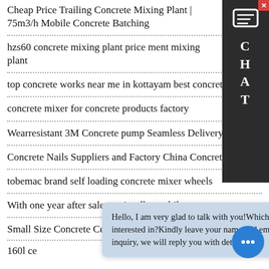Cheap Price Trailing Concrete Mixing Plant | 75m3/h Mobile Concrete Batching
hzs60 concrete mixing plant price ment mixing plant
top concrete works near me in kottayam best concrete
concrete mixer for concrete products factory
Wearresistant 3M Concrete pump Seamless Delivery Pipe
Concrete Nails Suppliers and Factory China Concrete
tobemac brand self loading concrete mixer wheels
With one year after sale serviceelba mobile concrete
Small Size Concrete Cement Mixer Plant Station
160l ce
Hello, I am very glad to talk with you!Which equipment are you interested in?Kindly leave your name and email & equipment inquiry, we will reply you with detail.